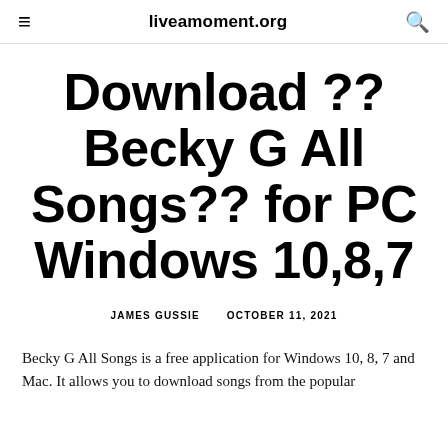liveamoment.org
Download ?? Becky G All Songs?? for PC Windows 10,8,7
JAMES GUSSIE   OCTOBER 11, 2021
Becky G All Songs is a free application for Windows 10, 8, 7 and Mac. It allows you to download songs from the popular